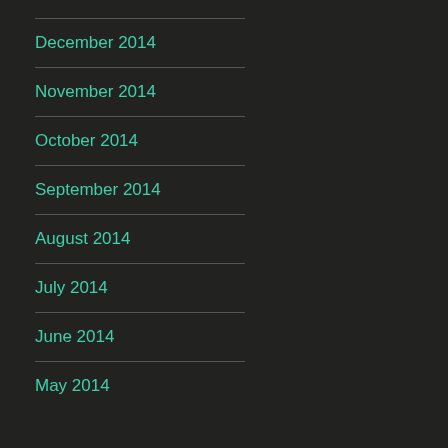December 2014
November 2014
October 2014
September 2014
August 2014
July 2014
June 2014
May 2014